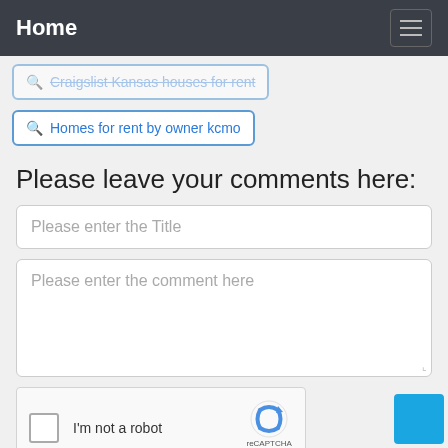Home
Homes for rent by owner kcmo
Please leave your comments here:
Please enter the Title
Please enter the comment here
[Figure (other): reCAPTCHA widget with checkbox 'I'm not a robot' and reCAPTCHA logo with Privacy and Terms links]